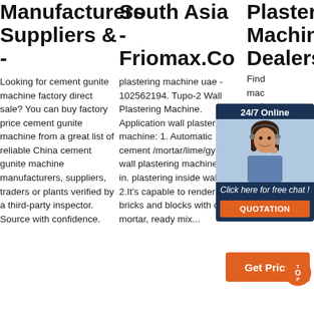Manufacturers Suppliers &
Looking for cement gunite machine factory direct sale? You can buy factory price cement gunite machine from a great list of reliable China cement gunite machine manufacturers, suppliers, traders or plants verified by a third-party inspector. Source with confidence.
South Asia - Friomax.Co
plastering machine uae - 102562194. Tupo-2 Wall Plastering Machine. Application wall plastering machine: 1. Automatic cement /mortar/lime/gypsum wall plastering machine used in. plastering inside walls. 2.It's capable to render on bricks and blocks with cement mortar, ready mix...
Plaster Machine Dealers ...
Find plaster machine dealers, traders, wholesalers, manufacturers, suppliers, Tamil Nadu & up... machines
[Figure (photo): Customer service representative photo with 24/7 Online chat widget overlay, orange QUOTATION button]
[Figure (other): Get Price orange button with TOP badge]